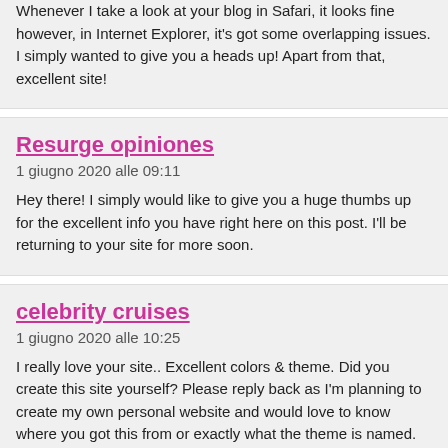Whenever I take a look at your blog in Safari, it looks fine however, in Internet Explorer, it's got some overlapping issues. I simply wanted to give you a heads up! Apart from that, excellent site!
Resurge opiniones
1 giugno 2020 alle 09:11
Hey there! I simply would like to give you a huge thumbs up for the excellent info you have right here on this post. I'll be returning to your site for more soon.
celebrity cruises
1 giugno 2020 alle 10:25
I really love your site.. Excellent colors & theme. Did you create this site yourself? Please reply back as I'm planning to create my own personal website and would love to know where you got this from or exactly what the theme is named. thanks!
filipino dating
1 giugno 2020 alle 14:10
Pretty! This was a really wonderful post. Thanks for providing this info.